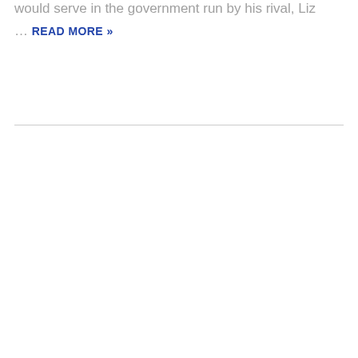would serve in the government run by his rival, Liz … READ MORE »